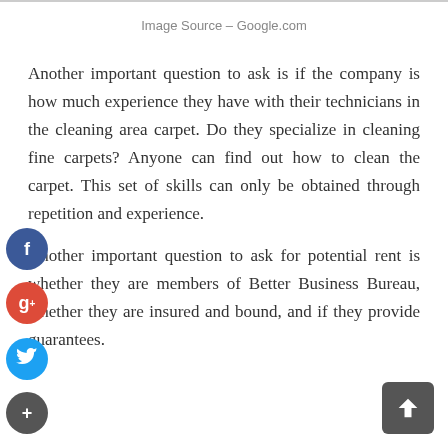Image Source – Google.com
Another important question to ask is if the company is how much experience they have with their technicians in the cleaning area carpet. Do they specialize in cleaning fine carpets? Anyone can find out how to clean the carpet. This set of skills can only be obtained through repetition and experience.
Another important question to ask for potential rent is whether they are members of Better Business Bureau, whether they are insured and bound, and if they provide guarantees.